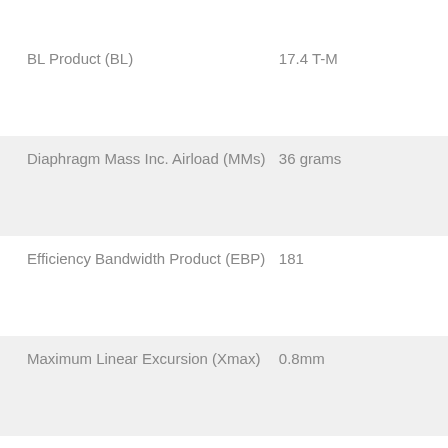| Parameter | Value |
| --- | --- |
| BL Product (BL) | 17.4 T-M |
| Diaphragm Mass Inc. Airload (MMs) | 36 grams |
| Efficiency Bandwidth Product (EBP) | 181 |
| Maximum Linear Excursion (Xmax) | 0.8mm |